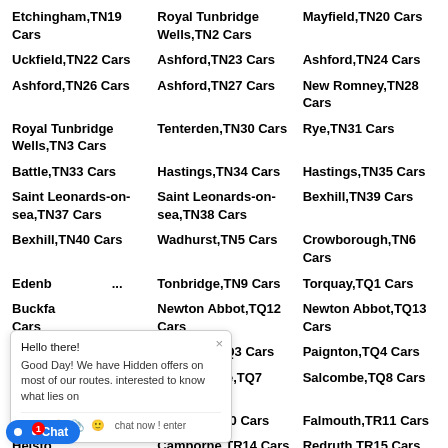Etchingham,TN19 Cars
Royal Tunbridge Wells,TN2 Cars
Mayfield,TN20 Cars
Uckfield,TN22 Cars
Ashford,TN23 Cars
Ashford,TN24 Cars
Ashford,TN26 Cars
Ashford,TN27 Cars
New Romney,TN28 Cars
Royal Tunbridge Wells,TN3 Cars
Tenterden,TN30 Cars
Rye,TN31 Cars
Battle,TN33 Cars
Hastings,TN34 Cars
Hastings,TN35 Cars
Saint Leonards-on-sea,TN37 Cars
Saint Leonards-on-sea,TN38 Cars
Bexhill,TN39 Cars
Bexhill,TN40 Cars
Wadhurst,TN5 Cars
Crowborough,TN6 Cars
Edenbridge,TN8 Cars
Tonbridge,TN9 Cars
Torquay,TQ1 Cars
Buckfastleigh,TQ11 Cars
Newton Abbot,TQ12 Cars
Newton Abbot,TQ13 Cars
Torquay,TQ2 Cars
Paignton,TQ3 Cars
Paignton,TQ4 Cars
Dartmouth,TQ6 Cars
Kingsbridge,TQ7 Cars
Salcombe,TQ8 Cars
Truro,TR1 Cars
Penryn,TR10 Cars
Falmouth,TR11 Cars
Helston,TR13 Cars
Camborne,TR14 Cars
Redruth,TR15 Cars
Marazion,TR17 Cars
Penzance,TR18 Cars
Penzance,TR19 Cars
Penzance,TR20 Cars
Isles Of Scilly,TR21
Isles Of Scilly,TR22